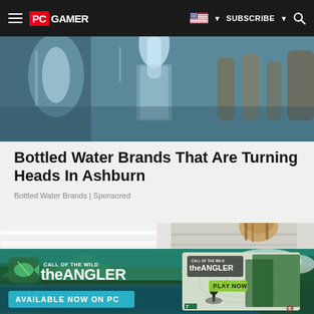PC GAMER | SUBSCRIBE | [search]
[Figure (photo): Close-up photo of water being poured into a glass, blue-tinted, blurred background with bottles]
Bottled Water Brands That Are Turning Heads In Ashburn
Bottled Water Brands | Sponsored
[Figure (photo): Two partial images side by side: left showing white shelves/racks, right showing a person from behind looking into a refrigerator]
[Figure (advertisement): Call of the Wild: the ANGLER game advertisement. Green/teal forest and lake background. Logo text: CALL OF THE WILD theANGLER. Text: AVAILABLE NOW ON PC. Game box art shown on right side with PLAY NOW button. Age rating 7 shown.]